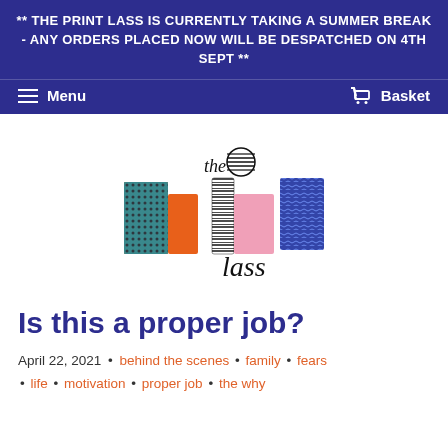** THE PRINT LASS IS CURRENTLY TAKING A SUMMER BREAK - ANY ORDERS PLACED NOW WILL BE DESPATCHED ON 4TH SEPT **
Menu | Basket
[Figure (logo): The Print Lass logo — colorful typographic logo with patterned letters spelling 'print lass' in orange, blue, teal, pink and black patterns, with 'the' written in script above]
Is this a proper job?
April 22, 2021 • behind the scenes • family • fears • life • motivation • proper job • the why